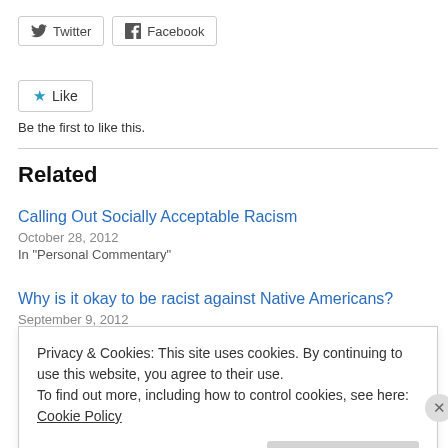[Figure (other): Twitter and Facebook share buttons]
[Figure (other): Like button with star icon]
Be the first to like this.
Related
Calling Out Socially Acceptable Racism
October 28, 2012
In "Personal Commentary"
Why is it okay to be racist against Native Americans?
September 9, 2012
Privacy & Cookies: This site uses cookies. By continuing to use this website, you agree to their use.
To find out more, including how to control cookies, see here: Cookie Policy
Close and accept